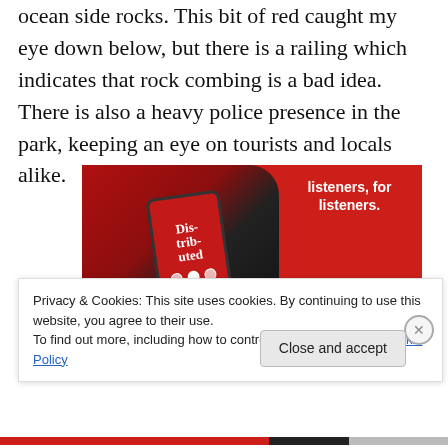ocean side rocks. This bit of red caught my eye down below, but there is a railing which indicates that rock combing is a bad idea. There is also a heavy police presence in the park, keeping an eye on tourists and locals alike.
[Figure (screenshot): Advertisement for a podcast app showing a smartphone with 'Dis-trib-uted' podcast on screen against a red background. Text reads 'listeners, for listeners.' with a 'Download now' button.]
Privacy & Cookies: This site uses cookies. By continuing to use this website, you agree to their use.
To find out more, including how to control cookies, see here: Cookie Policy
Close and accept